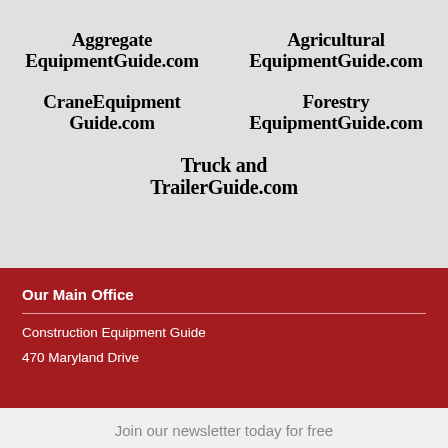[Figure (logo): AggregateEquipmentGuide.com logo in bold serif font]
[Figure (logo): AgriculturalEquipmentGuide.com logo in bold serif font]
[Figure (logo): CraneEquipmentGuide.com logo in bold serif font]
[Figure (logo): ForestryEquipmentGuide.com logo in bold serif font]
[Figure (logo): TruckandTrailerGuide.com logo in bold serif font]
Our Main Office
Construction Equipment Guide
470 Maryland Drive
Join our newsletter today for free